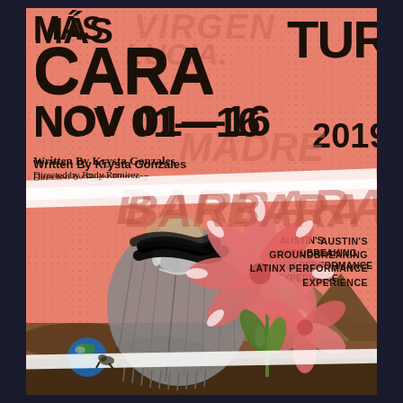[Figure (illustration): Theater poster for MÁSCARA, a Latinx performance. Features collage art with a woman in traditional dress with black brushstrokes over her face, large pink tropical flowers, mountain landscape background, and dotted pink poster design. Ghost text in background reads VIRGEN, LUCIA, MADRE, BARBARA.]
MÁSCARA
NOV 01–16
2019
Written By Krysta Gonzales
Directed by Rudy Ramirez
AUSTIN'S GROUNDBREAKING LATINX PERFORMANCE EXPERIENCE